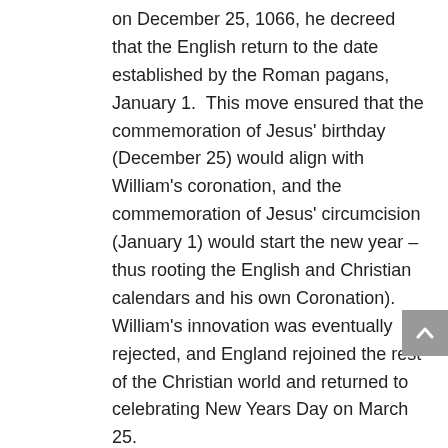on December 25, 1066, he decreed that the English return to the date established by the Roman pagans, January 1.  This move ensured that the commemoration of Jesus' birthday (December 25) would align with William's coronation, and the commemoration of Jesus' circumcision (January 1) would start the new year – thus rooting the English and Christian calendars and his own Coronation).  William's innovation was eventually rejected, and England rejoined the rest of the Christian world and returned to celebrating New Years Day on March 25.
About five hundred years later, in 1582, Pope Gregory XIII (AKA "Ugo Boncompagni", 1502-1585) abandoned the traditional Julian calendar.  By the Julian reckoning, the solar year comprised 365.25 days, and the intercalation of a "leap day" every four years was intended to maintain correspondence between the calendar and the seasons.  Really, however there was a slight inaccuracy in the Julian measurements (the...